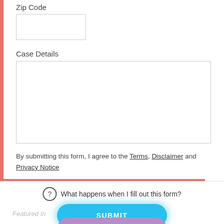Zip Code
Case Details
By submitting this form, I agree to the Terms, Disclaimer and Privacy Notice
What happens when I fill out this form?
SUBMIT
CONTACT US
Featured In